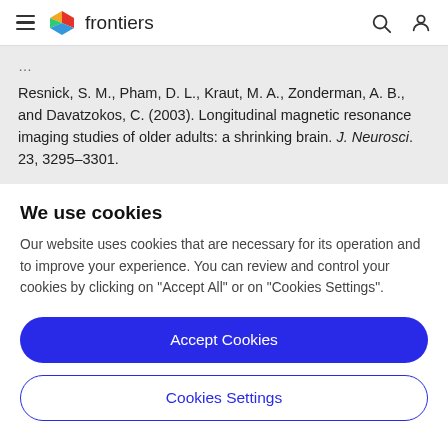frontiers
Resnick, S. M., Pham, D. L., Kraut, M. A., Zonderman, A. B., and Davatzokos, C. (2003). Longitudinal magnetic resonance imaging studies of older adults: a shrinking brain. J. Neurosci. 23, 3295–3301.
We use cookies
Our website uses cookies that are necessary for its operation and to improve your experience. You can review and control your cookies by clicking on "Accept All" or on "Cookies Settings".
Accept Cookies
Cookies Settings